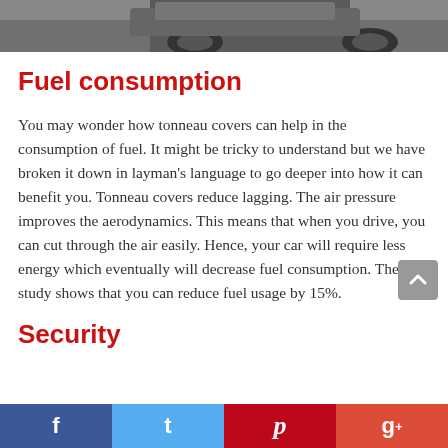[Figure (photo): Partial top of page showing a vehicle (truck/pickup) photo, cropped — only bottom portion visible showing wheels and undercarriage area.]
Fuel consumption
You may wonder how tonneau covers can help in the consumption of fuel. It might be tricky to understand but we have broken it down in layman’s language to go deeper into how it can benefit you. Tonneau covers reduce lagging. The air pressure improves the aerodynamics. This means that when you drive, you can cut through the air easily. Hence, your car will require less energy which eventually will decrease fuel consumption. The study shows that you can reduce fuel usage by 15%.
Security
[Figure (infographic): Social sharing bar at bottom with Facebook, Twitter, Pinterest, and Google+ buttons.]